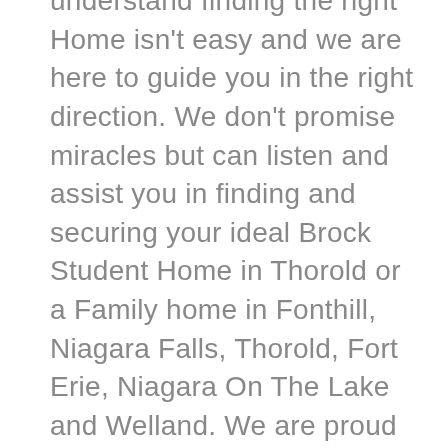understand finding the right Home isn't easy and we are here to guide you in the right direction. We don't promise miracles but can listen and assist you in finding and securing your ideal Brock Student Home in Thorold or a Family home in Fonthill, Niagara Falls, Thorold, Fort Erie, Niagara On The Lake and Welland. We are proud to be from the Niagara Region and understand the importance of local